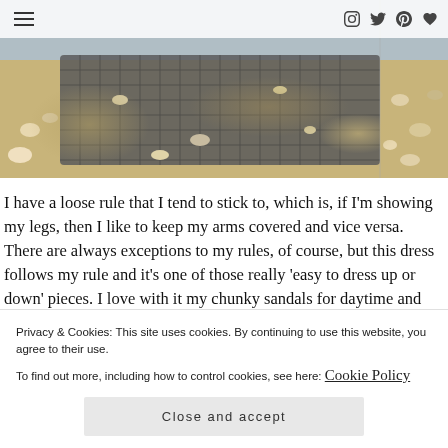Navigation menu and social icons (Instagram, Twitter, Pinterest, Heart)
[Figure (photo): Beach scene with dark gridded mat/bag on sand surrounded by small pebbles and shells, split view]
I have a loose rule that I tend to stick to, which is, if I'm showing my legs, then I like to keep my arms covered and vice versa. There are always exceptions to my rules, of course, but this dress follows my rule and it's one of those really 'easy to dress up or down' pieces. I love with it my chunky sandals for daytime and swap to a pair of he... so...
Privacy & Cookies: This site uses cookies. By continuing to use this website, you agree to their use.
To find out more, including how to control cookies, see here: Cookie Policy

Close and accept